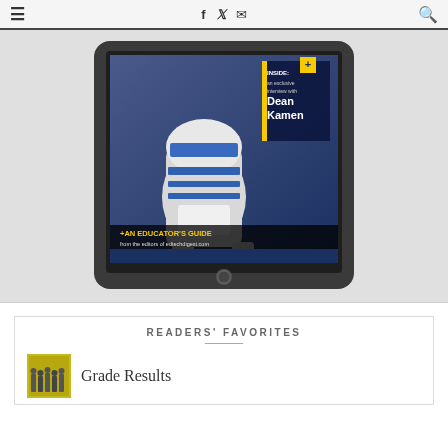≡  f  𝕏  ✉  🔍
[Figure (photo): iPad tablet mockup displaying a magazine cover with an R2-D2 robot, text 'INSIDE: an exclusive interview with Dean Kamen' and '+AN EDUCATOR'S GUIDE from the editors of edtechdigest.com']
READERS' FAVORITES
[Figure (photo): Small yellow thumbnail image of a group of people]
Grade Results